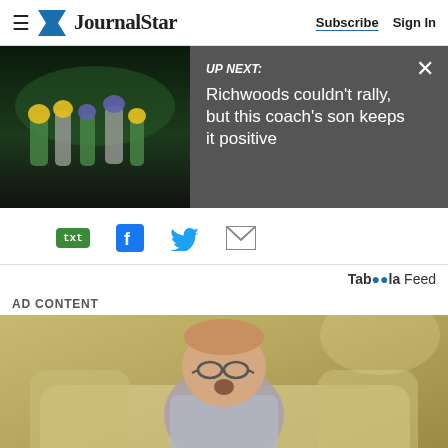JournalStar — Subscribe | Sign In
[Figure (screenshot): UP NEXT banner with football game thumbnail and text: Richwoods couldn't rally, but this coach's son keeps it positive]
[Figure (screenshot): Share icons: txt (SMS), Facebook, Twitter, Email]
Taboola Feed
AD CONTENT
[Figure (photo): Older man with glasses sitting on a couch, mouth open]
0  Subscribe  Sign in  [chain link icon] [comment icon] [share icon]